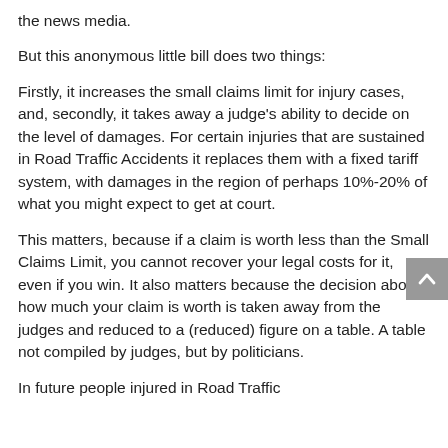the news media.
But this anonymous little bill does two things:
Firstly, it increases the small claims limit for injury cases, and, secondly, it takes away a judge’s ability to decide on the level of damages. For certain injuries that are sustained in Road Traffic Accidents it replaces them with a fixed tariff system, with damages in the region of perhaps 10%-20% of what you might expect to get at court.
This matters, because if a claim is worth less than the Small Claims Limit, you cannot recover your legal costs for it, even if you win. It also matters because the decision about how much your claim is worth is taken away from the judges and reduced to a (reduced) figure on a table. A table not compiled by judges, but by politicians.
In future people injured in Road Traffic